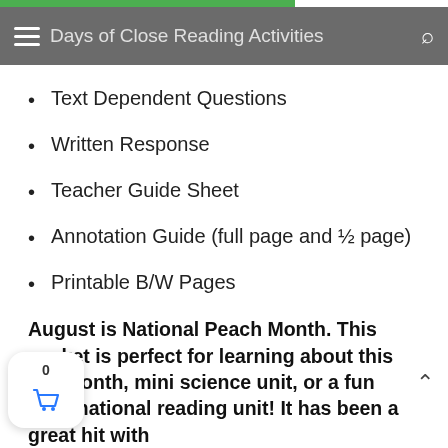Days of Close Reading Activities
Text Dependent Questions
Written Response
Teacher Guide Sheet
Annotation Guide (full page and ½ page)
Printable B/W Pages
Color, Interactive Digital Slides for Google Classroom
Answer Keys
August is National Peach Month. This packet is perfect for learning about this fun month, mini science unit, or a fun informational reading unit! It has been a great hit with